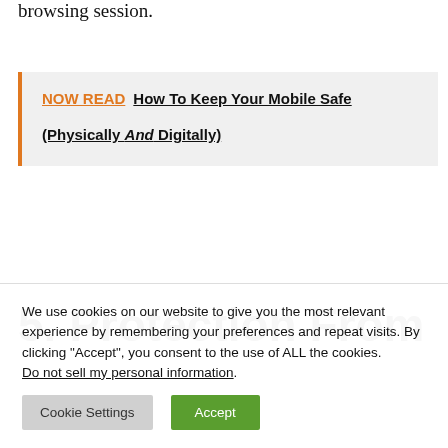browsing session.
NOW READ  How To Keep Your Mobile Safe (Physically And Digitally)
5. Protection From
We use cookies on our website to give you the most relevant experience by remembering your preferences and repeat visits. By clicking “Accept”, you consent to the use of ALL the cookies. Do not sell my personal information.
Cookie Settings   Accept